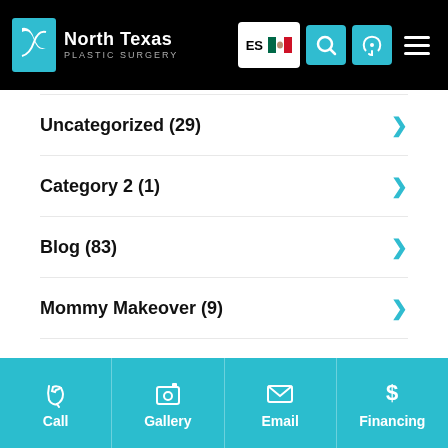[Figure (screenshot): North Texas Plastic Surgery website header with logo, ES language button, search icon, phone icon, and hamburger menu on black background]
Uncategorized (29)
Category 2 (1)
Blog (83)
Mommy Makeover (9)
Post Op Care (8)
Butt Lift (7)
Call | Gallery | Email | Financing